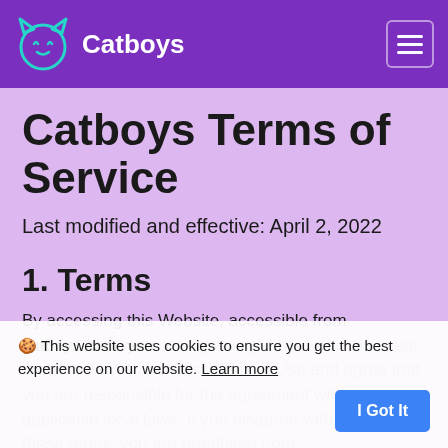Catboys
Catboys Terms of Service
Last modified and effective: April 2, 2022
1. Terms
By accessing this Website, accessible from catboys.com, you are agreeing to be bound by these Website Terms and Conditions of Use and agree that you are responsible for the agreement with any applicable local laws. If you disagree with any of these terms, you are prohibited from
🍪 This website uses cookies to ensure you get the best experience on our website. Learn more